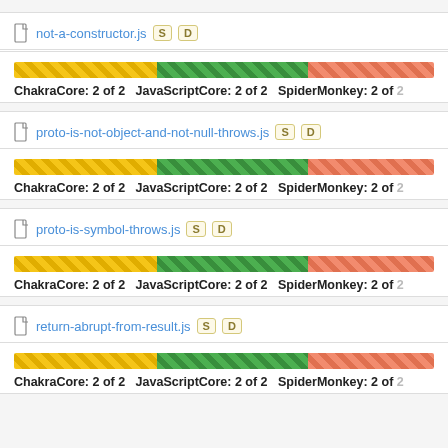not-a-constructor.js S D
[Figure (bar-chart): Progress bar with yellow, green, and red hatched segments]
ChakraCore: 2 of 2   JavaScriptCore: 2 of 2   SpiderMonkey: 2 of 2
proto-is-not-object-and-not-null-throws.js S D
[Figure (bar-chart): Progress bar with yellow, green, and red hatched segments]
ChakraCore: 2 of 2   JavaScriptCore: 2 of 2   SpiderMonkey: 2 of 2
proto-is-symbol-throws.js S D
[Figure (bar-chart): Progress bar with yellow, green, and red hatched segments]
ChakraCore: 2 of 2   JavaScriptCore: 2 of 2   SpiderMonkey: 2 of 2
return-abrupt-from-result.js S D
[Figure (bar-chart): Progress bar with yellow, green, and red hatched segments]
ChakraCore: 2 of 2   JavaScriptCore: 2 of 2   SpiderMonkey: 2 of 2